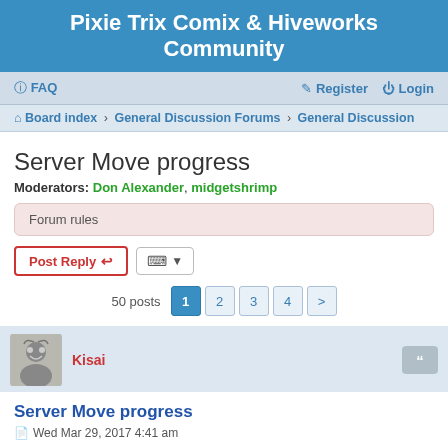Pixie Trix Comix & Hiveworks Community
FAQ   Register   Login
Board index › General Discussion Forums › General Discussion
Server Move progress
Moderators: Don Alexander, midgetshrimp
Forum rules
Post Reply
50 posts  1  2  3  4  >
Kisai
Server Move progress
Wed Mar 29, 2017 4:41 am
So sorry for leaving the forum down for so long. DNS was more troublesome than expected, and as a result the sites got schrodinger'd. Both dead and alive at the same time depending on your DNS server.